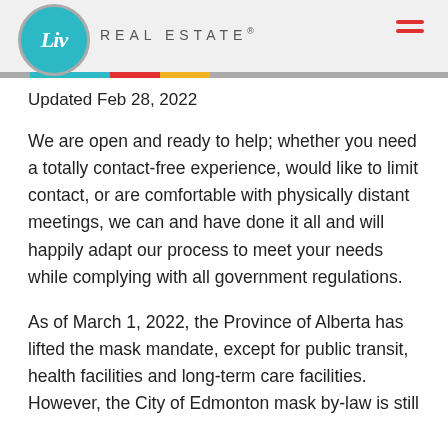Liv Real Estate
Updated Feb 28, 2022
We are open and ready to help; whether you need a totally contact-free experience, would like to limit contact, or are comfortable with physically distant meetings, we can and have done it all and will happily adapt our process to meet your needs while complying with all government regulations.
As of March 1, 2022, the Province of Alberta has lifted the mask mandate, except for public transit, health facilities and long-term care facilities. However, the City of Edmonton mask by-law is still